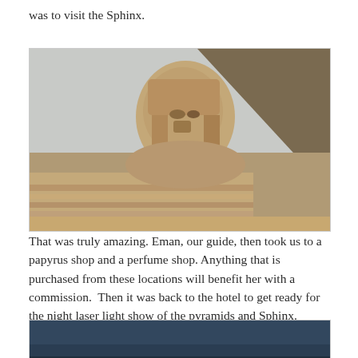was to visit the Sphinx.
[Figure (photo): Photograph of the Great Sphinx of Giza with pyramid in background, sandy limestone coloring]
That was truly amazing. Eman, our guide, then took us to a papyrus shop and a perfume shop. Anything that is purchased from these locations will benefit her with a commission.  Then it was back to the hotel to get ready for the night laser light show of the pyramids and Sphinx.
[Figure (photo): Photograph showing a dark blue sky, partial view of laser light show at night]